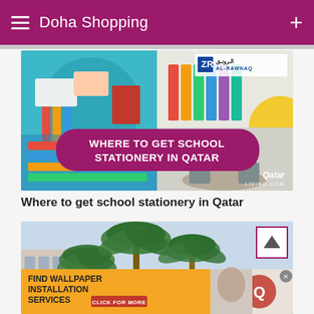Doha Shopping
[Figure (photo): Collage of school stationery items with Al-Rawnaq logo, overlay text 'WHERE TO GET SCHOOL STATIONERY IN QATAR', Qatar Living watermark]
Where to get school stationery in Qatar
[Figure (photo): Photo of palm trees with an advertisement banner 'FIND WALLPAPER INSTALLATION SERVICES - CLICK FOR MORE' and a back-to-top arrow button]